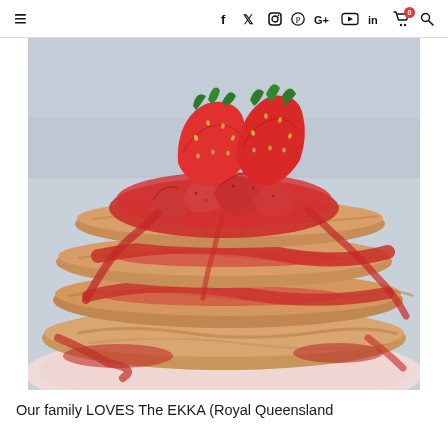≡  f  🐦  📷  🅿  G+  ▶  in  🛒⁰  🔍
[Figure (photo): Stack of fluffy pancakes topped with chunky strawberry compote and fresh whole strawberries on a plate, close-up food photography with light background]
Our family LOVES The EKKA (Royal Queensland